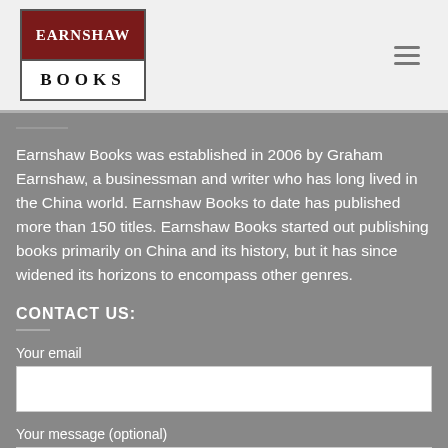[Figure (logo): Earnshaw Books logo: dark red top half with 'EARNSHAW' in white serif text, white bottom half with 'BOOKS' in bold black spaced serif text, framed by a border]
Earnshaw Books was established in 2006 by Graham Earnshaw, a businessman and writer who has long lived in the China world. Earnshaw Books to date has published more than 150 titles. Earnshaw Books started out publishing books primarily on China and its history, but it has since widened its horizons to encompass other genres.
CONTACT US:
Your email
Your message (optional)